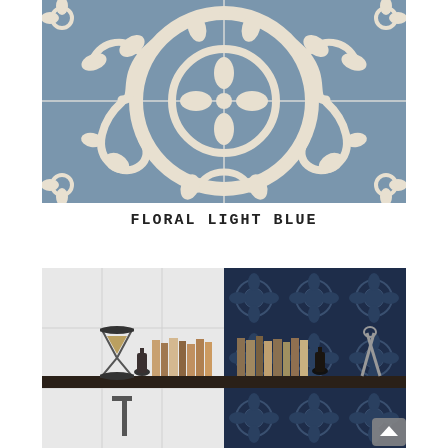[Figure (photo): Close-up photograph of decorative ceramic tiles with a floral light blue pattern — large white scrolling floral and leaf motifs on a steel blue/grey background, arranged in a symmetrical four-tile pattern with visible grout lines.]
FLORAL LIGHT BLUE
[Figure (photo): Interior scene showing a dark wall shelf with books, a hourglass, and small objects. The left half of the background is plain white ceramic tile; the right half features a deep navy blue decorative patterned tile with intricate floral/damask motifs. A small silver scroll icon appears in the bottom right corner.]